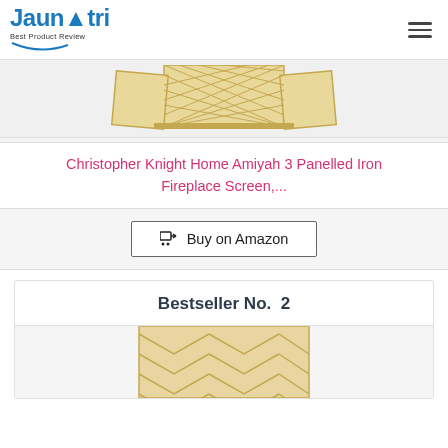Jaunatri - Best Product Review
[Figure (photo): Christopher Knight Home Amiyah 3 Panelled Iron Fireplace Screen - decorative gold lattice/diamond pattern fireplace screen, partially visible at top]
Christopher Knight Home Amiyah 3 Panelled Iron Fireplace Screen,...
Buy on Amazon
Bestseller No. 2
[Figure (photo): Second product - fireplace screen with chevron/herringbone pattern in gold/brass color, partially visible at bottom]